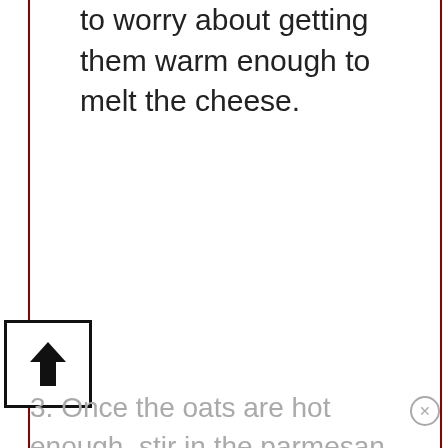to worry about getting them warm enough to melt the cheese.
[Figure (other): Up arrow icon inside a square box]
3. Once the oats are hot enough, stir in the parmesan. Turn off